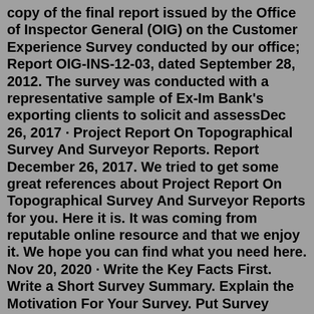copy of the final report issued by the Office of Inspector General (OIG) on the Customer Experience Survey conducted by our office; Report OIG-INS-12-03, dated September 28, 2012. The survey was conducted with a representative sample of Ex-Im Bank's exporting clients to solicit and assessDec 26, 2017 · Project Report On Topographical Survey And Surveyor Reports. Report December 26, 2017. We tried to get some great references about Project Report On Topographical Survey And Surveyor Reports for you. Here it is. It was coming from reputable online resource and that we enjoy it. We hope you can find what you need here. Nov 20, 2020 · Write the Key Facts First. Write a Short Survey Summary. Explain the Motivation For Your Survey. Put Survey Statistics in Context. Tell the Reader What the Outcome Should Be. Export Your Survey Result Graphs. Let's walk through some tricks and techniques with real examples. 1. Use Visualizations to Show Data. This report was produced in 5 seconds with PocketSurvey... How long does it take you?